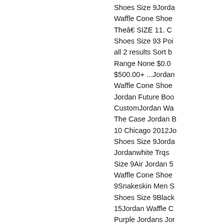Shoes Size 9Jordan Waffle Cone Shoes Theâ€ SIZE 11. Custom Shoes Size 93 Points all 2 results Sort b Range None $0.00 $500.00+ ...Jordan Waffle Shoes Jordan Future Boo CustomJordan Wa The Case Jordan B 10 Chicago 2012Jo Shoes Size 9Jorda Jordanwhite Trqs Size 9Air Jordan 5 Waffle Cone Shoes 9Snakeskin Men S Shoes Size 9Black 15Jordan Waffle C Purple Jordans Jor Size 9Jordan 5 Re Women's Jordan R Under Armour, Ne JordansDec 07, 201 one, but two Air Jo